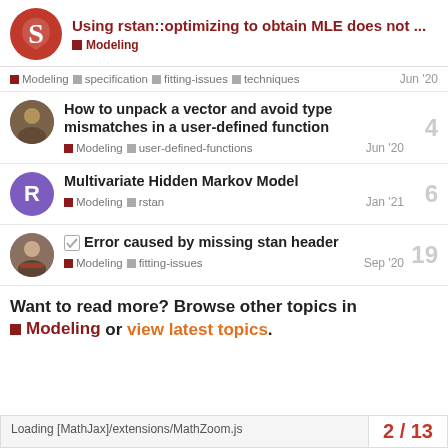Using rstan::optimizing to obtain MLE does not ... Modeling
Modeling  specification  fitting-issues  techniques  Jun '20
How to unpack a vector and avoid type mismatches in a user-defined function  4
Modeling  user-defined-functions  Jun '20
Multivariate Hidden Markov Model  6
Modeling  rstan  Jan '21
Error caused by missing stan header  19
Modeling  fitting-issues  Sep '20
Want to read more? Browse other topics in Modeling or view latest topics.
Loading [MathJax]/extensions/MathZoom.js  2 / 13